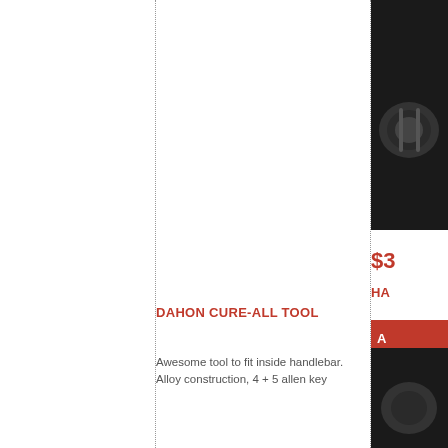[Figure (photo): Product photo of a bicycle accessory/tool on dark background, partially visible in right column top area]
$3...
A...
DAHON CURE-ALL TOOL
Awesome tool to fit inside handlebar. Alloy construction, 4 + 5 allen key
HA...
[Figure (photo): Product photo partially visible at bottom right, dark background]